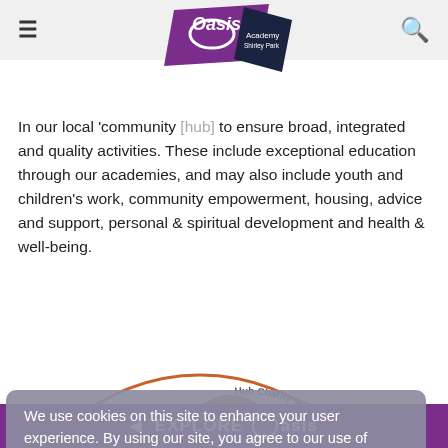[Figure (logo): Oasis Academy Shirley Park logo — purple rhombus with 'Oasis' text and dark navy triangle with 'Academy Shirley Park']
In our local 'community [hub] to ensure broad, integrated and quality activities. These include exceptional education through our academies, and may also include youth and children's work, community empowerment, housing, advice and support, personal & spiritual development and health & well-being.
[Figure (infographic): Circular diagram showing Oasis community hub model with orange circles labeled Youth work, Academy, Healthy, surrounding a central hub. Curved text reads 'Whole Neighbourhood' on left and 'Hub Charity governed by OCP for use acr...' on right. Background shows grey extended community ring.]
We use cookies on this site to enhance your user experience. By using our site, you agree to our use of cookies. Learn more
◄ EXPLORE Oasis